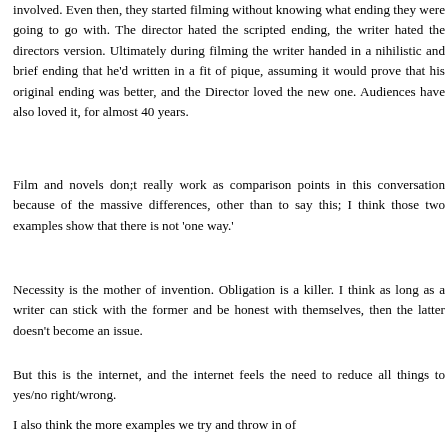involved. Even then, they started filming without knowing what ending they were going to go with. The director hated the scripted ending, the writer hated the directors version. Ultimately during filming the writer handed in a nihilistic and brief ending that he'd written in a fit of pique, assuming it would prove that his original ending was better, and the Director loved the new one. Audiences have also loved it, for almost 40 years.
Film and novels don;t really work as comparison points in this conversation because of the massive differences, other than to say this; I think those two examples show that there is not 'one way.'
Necessity is the mother of invention. Obligation is a killer. I think as long as a writer can stick with the former and be honest with themselves, then the latter doesn't become an issue.
But this is the internet, and the internet feels the need to reduce all things to yes/no right/wrong.
I also think the more examples we try and throw in of